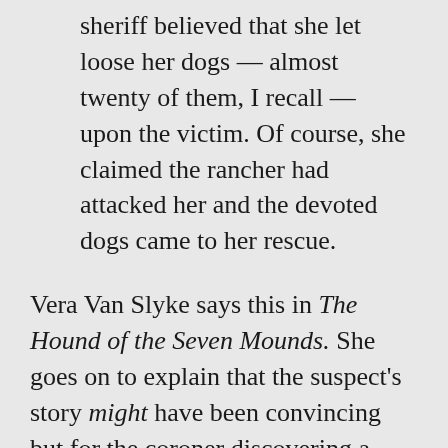sheriff believed that she let loose her dogs — almost twenty of them, I recall — upon the victim. Of course, she claimed the rancher had attacked her and the devoted dogs came to her rescue.
Vera Van Slyke says this in The Hound of the Seven Mounds. She goes on to explain that the suspect's story might have been convincing but for the coroner discovering a head wound on the deceased, one inflicted prior to the canine attack. The woman "loved those dogs more than anything, and she feared